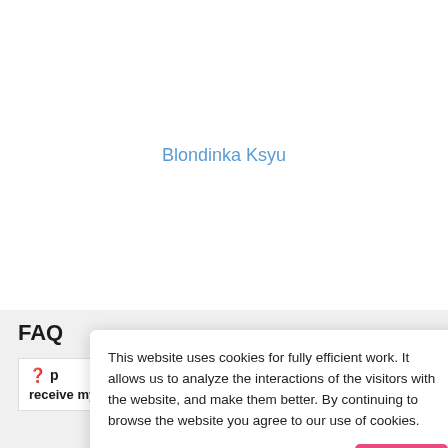Blondinka Ksyu
FAQ
❓ p...
receive my order?
This website uses cookies for fully efficient work. It allows us to analyze the interactions of the visitors with the website, and make them better. By continuing to browse the website you agree to our use of cookies.
Accept